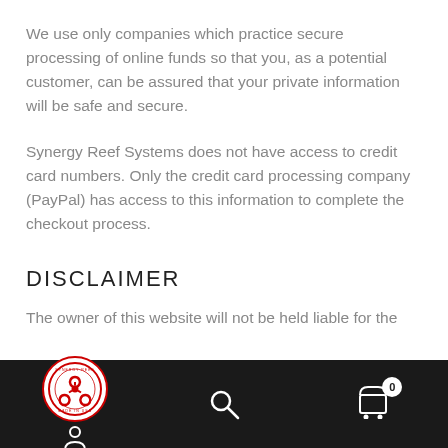We use only companies which practice secure processing of online funds so that you, as a potential customer, can be assured that your private information will be safe and secure.
Synergy Reef Systems does not have access to credit card numbers. Only the credit card processing company (PayPal) has access to this information to complete the checkout process.
DISCLAIMER
The owner of this website will not be held liable for the
[Figure (logo): Synergy Reef LLC Made in USA circular badge logo with biohazard symbol in red]